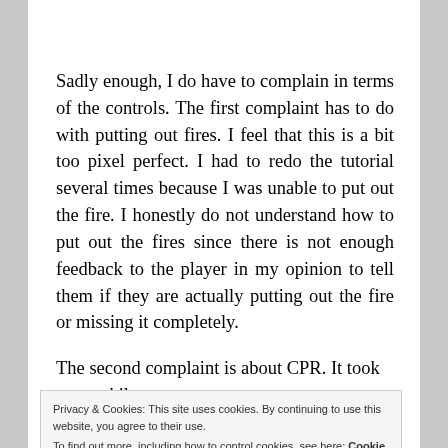Sadly enough, I do have to complain in terms of the controls. The first complaint has to do with putting out fires. I feel that this is a bit too pixel perfect. I had to redo the tutorial several times because I was unable to put out the fire. I honestly do not understand how to put out the fires since there is not enough feedback to the player in my opinion to tell them if they are actually putting out the fire or missing it completely.
The second complaint is about CPR. It took me a while to
Privacy & Cookies: This site uses cookies. By continuing to use this website, you agree to their use.
To find out more, including how to control cookies, see here: Cookie Policy
Close and accept
controls. You must do pressure massages and down. Put